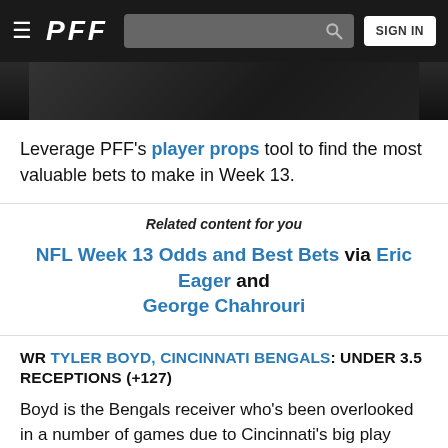PFF — Navigation bar with menu icon, logo, search bar, and SIGN IN button
[Figure (photo): Dark hero/banner image cropped at top of content area]
Leverage PFF's player props tool to find the most valuable bets to make in Week 13.
Related content for you
NFL Week 13 Odds and Best Bets via Eric Eager and George Chahrouri
WR TYLER BOYD, CINCINNATI BENGALS: UNDER 3.5 RECEPTIONS (+127)
Boyd is the Bengals receiver who's been overlooked in a number of games due to Cincinnati's big play receivers on the outside and rushing volume with Joe Mixon. The